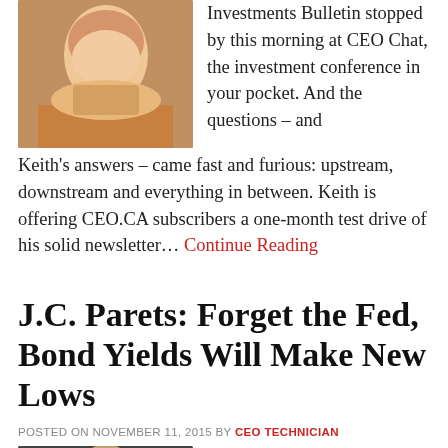Investments Bulletin stopped by this morning at CEO Chat, the investment conference in your pocket. And the questions – and Keith's answers – came fast and furious: upstream, downstream and everything in between. Keith is offering CEO.CA subscribers a one-month test drive of his solid newsletter... Continue Reading
J.C. Parets: Forget the Fed, Bond Yields Will Make New Lows
POSTED ON NOVEMBER 11, 2015 BY CEO TECHNICIAN
Via Energy and Gold.com: Noted market technician and fund manager J.C. Parets is a longtime